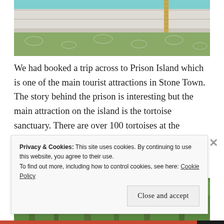[Figure (photo): Close-up photo of a wooden boat with white painted planks, green patterned fabric draped over the side, and a rope visible at the top right. Turquoise water visible at the top.]
We had booked a trip across to Prison Island which is one of the main tourist attractions in Stone Town. The story behind the prison is interesting but the main attraction on the island is the tortoise sanctuary. There are over 100 tortoises at the sanctuary with the oldest being 195 years old!
[Figure (photo): Partial photo showing lush green tropical trees and vegetation, partially obscured by the cookie consent banner.]
Privacy & Cookies: This site uses cookies. By continuing to use this website, you agree to their use.
To find out more, including how to control cookies, see here: Cookie Policy
Close and accept